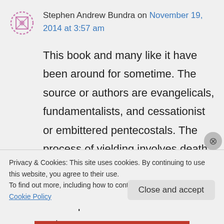Stephen Andrew Bundra on November 19, 2014 at 3:57 am
This book and many like it have been around for sometime. The source or authors are evangelicals, fundamentalists, and cessationist or embittered pentecostals. The process of yielding involves death to self on many levels as you know. Their will always be those in all camps or tribes whose heart is not pure.
Privacy & Cookies: This site uses cookies. By continuing to use this website, you agree to their use.
To find out more, including how to control cookies, see here: Cookie Policy
Close and accept